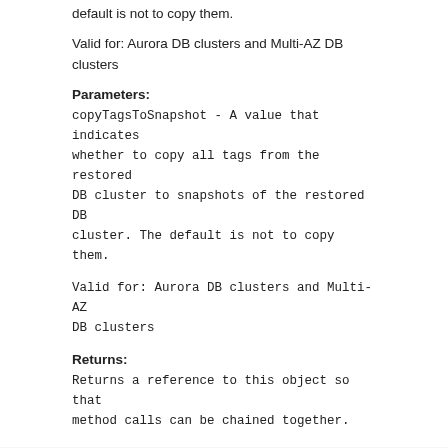default is not to copy them.
Valid for: Aurora DB clusters and Multi-AZ DB clusters
Parameters:
copyTagsToSnapshot - A value that indicates whether to copy all tags from the restored DB cluster to snapshots of the restored DB cluster. The default is not to copy them.
Valid for: Aurora DB clusters and Multi-AZ DB clusters
Returns:
Returns a reference to this object so that method calls can be chained together.
isCopyTagsToSnapshot
public Boolean isCopyTagsToSnapshot()
A value that indicates whether to copy all tags from the restored DB cluster to snapshots of the restored DB cluster. The